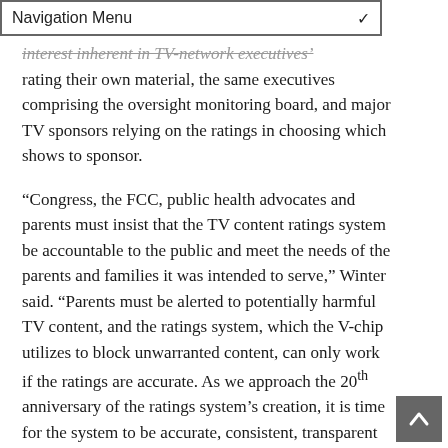Navigation Menu
interest inherent in TV-network executives' rating their own material, the same executives comprising the oversight monitoring board, and major TV sponsors relying on the ratings in choosing which shows to sponsor.
“Congress, the FCC, public health advocates and parents must insist that the TV content ratings system be accountable to the public and meet the needs of the parents and families it was intended to serve,” Winter said. “Parents must be alerted to potentially harmful TV content, and the ratings system, which the V-chip utilizes to block unwarranted content, can only work if the ratings are accurate. As we approach the 20th anniversary of the ratings system’s creation, it is time for the system to be accurate, consistent, transparent and accountable to the public.”
Thousands of studies have examined the harm children suffer when they are exposed